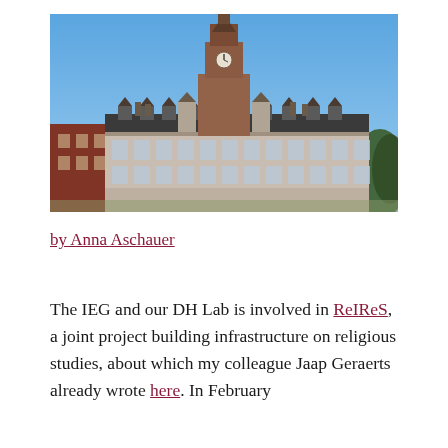[Figure (photo): Photograph of a large historic university library building with a tall clock tower, set against a clear blue sky. The building has ornate neo-Gothic architecture with multiple dormers and decorative stonework.]
by Anna Aschauer
The IEG and our DH Lab is involved in ReIReS, a joint project building infrastructure on religious studies, about which my colleague Jaap Geraerts already wrote here. In February